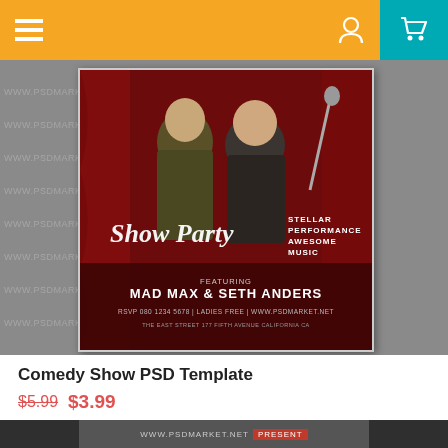Navigation bar with menu, user, and cart icons
[Figure (photo): Comedy Show PSD Template flyer product listing page. Shows a dark red event flyer with two men on stage, text reading 'Show Party FEATURING MAD MAX & SETH ANDERS', watermarked background with www.psdmarket.net repeated. Below the flyer image is a bottom preview thumbnail strip.]
Comedy Show PSD Template
$5.99 $3.99